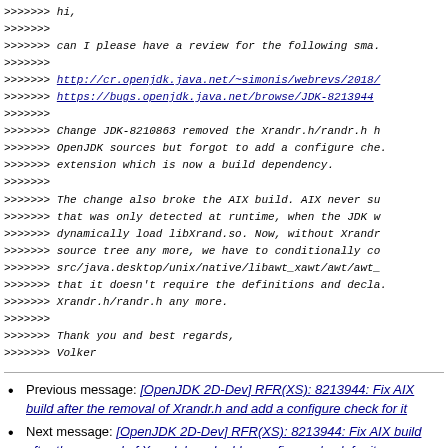>>>>>>> hi,
>>>>>>>
>>>>>>> can I please have a review for the following sma.
>>>>>>>
>>>>>>> http://cr.openjdk.java.net/~simonis/webrevs/2018/
>>>>>>> https://bugs.openjdk.java.net/browse/JDK-8213944
>>>>>>>
>>>>>>> Change JDK-8210863 removed the Xrandr.h/randr.h from
>>>>>>> OpenJDK sources but forgot to add a configure che.
>>>>>>> extension which is now a build dependency.
>>>>>>>
>>>>>>> The change also broke the AIX build. AIX never su
>>>>>>> that was only detected at runtime, when the JDK w
>>>>>>> dynamically load libXrand.so. Now, without Xrandr
>>>>>>> source tree any more, we have to conditionally co
>>>>>>> src/java.desktop/unix/native/libawt_xawt/awt/awt_
>>>>>>> that it doesn't require the definitions and decla.
>>>>>>> Xrandr.h/randr.h any more.
>>>>>>>
>>>>>>> Thank you and best regards,
>>>>>>> Volker
Previous message: [OpenJDK 2D-Dev] RFR(XS): 8213944: Fix AIX build after the removal of Xrandr.h and add a configure check for it
Next message: [OpenJDK 2D-Dev] RFR(XS): 8213944: Fix AIX build after the removal of Xrandr.h and add a configure check for it